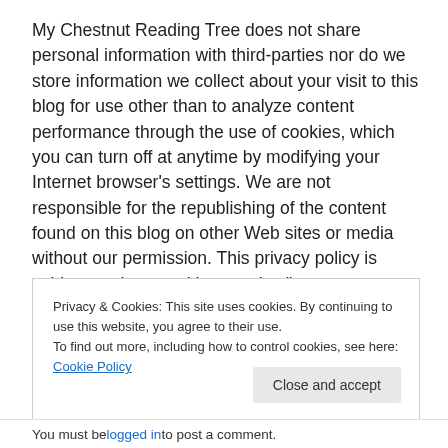My Chestnut Reading Tree does not share personal information with third-parties nor do we store information we collect about your visit to this blog for use other than to analyze content performance through the use of cookies, which you can turn off at anytime by modifying your Internet browser's settings. We are not responsible for the republishing of the content found on this blog on other Web sites or media without our permission. This privacy policy is subject to change without notice."
Privacy & Cookies: This site uses cookies. By continuing to use this website, you agree to their use. To find out more, including how to control cookies, see here: Cookie Policy
Close and accept
You must be logged in to post a comment.